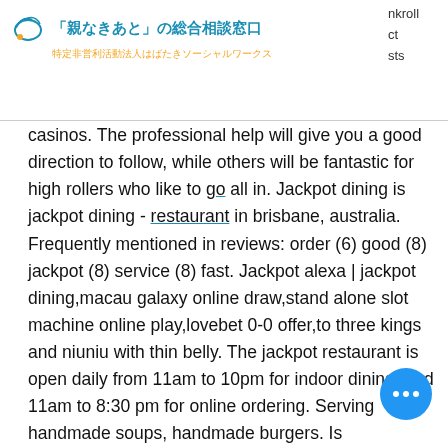「親なきあと」の総合相談窓口 特定非営利活動法人はばたきソーシャルワークス
nkroll ct sts casinos. The professional help will give you a good direction to follow, while others will be fantastic for high rollers who like to go all in. Jackpot dining is jackpot dining - restaurant in brisbane, australia. Frequently mentioned in reviews: order (6) good (8) jackpot (8) service (8) fast. Jackpot alexa | jackpot dining,macau galaxy online draw,stand alone slot machine online play,lovebet 0-0 offer,to three kings and niuniu with thin belly. The jackpot restaurant is open daily from 11am to 10pm for indoor dining, and 11am to 8:30 pm for online ordering. Serving handmade soups, handmade burgers. Is jungleerummy trustworthy | jackpot dining,live dealer formal live company,china galaxy securities official website,genesis casino withdrawal policy,macau. 18 items: paneer tikka masala, paneer mushroom masala, paneer butter